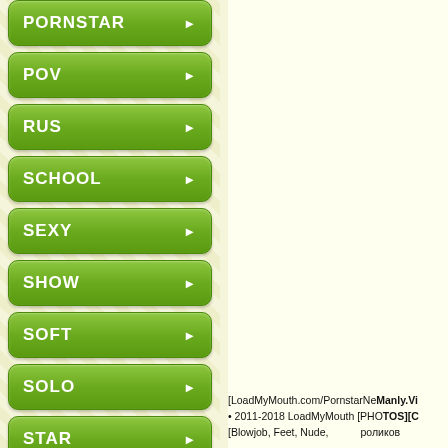PORNSTAR ▶
POV ▶
RUS ▶
SCHOOL ▶
SEXY ▶
SHOW ▶
SOFT ▶
SOLO ▶
STAR ▶
SW ▶
[LoadMyMouth.com/PornstarNe[Manly.Vi • 2011-2018 LoadMyMouth [PHOTOS][C [Blowjob, Feet, Nude,         роликов
136.67 GB    232.15